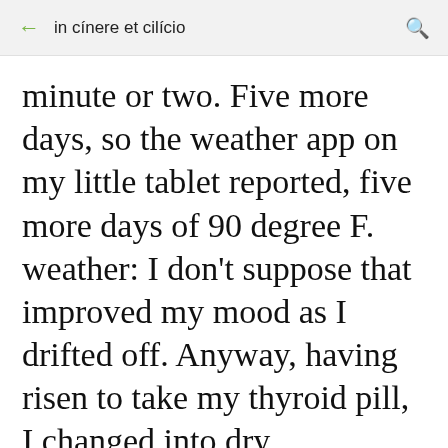in cínere et cilício
minute or two. Five more days, so the weather app on my little tablet reported, five more days of 90 degree F. weather: I don't suppose that improved my mood as I drifted off. Anyway, having risen to take my thyroid pill, I changed into dry underclothing and proceeded to yet again sleep like the dead-- although not before re-setting the alarm from